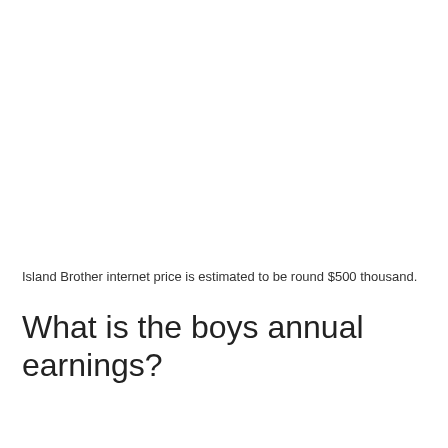Island Brother internet price is estimated to be round $500 thousand.
What is the boys annual earnings?